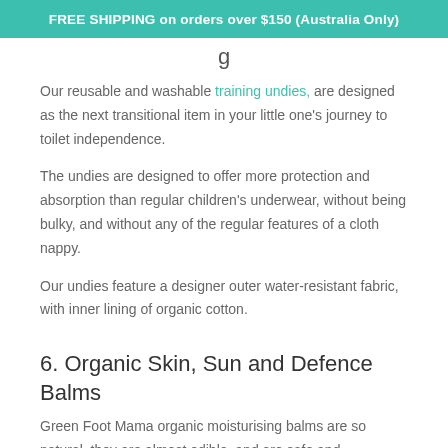FREE SHIPPING on orders over $150 (Australia Only)
Our reusable and washable training undies, are designed as the next transitional item in your little one's journey to toilet independence.
The undies are designed to offer more protection and absorption than regular children's underwear, without being bulky, and without any of the regular features of a cloth nappy.
Our undies feature a designer outer water-resistant fabric, with inner lining of organic cotton.
6. Organic Skin, Sun and Defence Balms
Green Foot Mama organic moisturising balms are so natural, they are almost edible, and are safe and